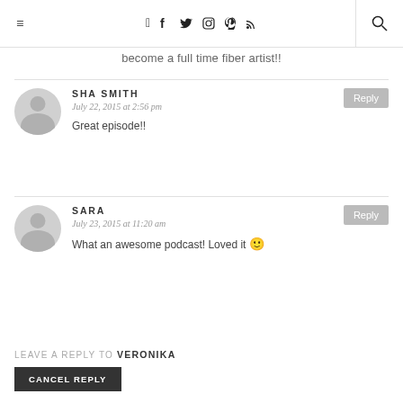≡  f  twitter  instagram  pinterest  rss  🔍
become a full time fiber artist!!
SHA SMITH
July 22, 2015 at 2:56 pm
Great episode!!
SARA
July 23, 2015 at 11:20 am
What an awesome podcast! Loved it 🙂
LEAVE A REPLY TO VERONIKA
CANCEL REPLY